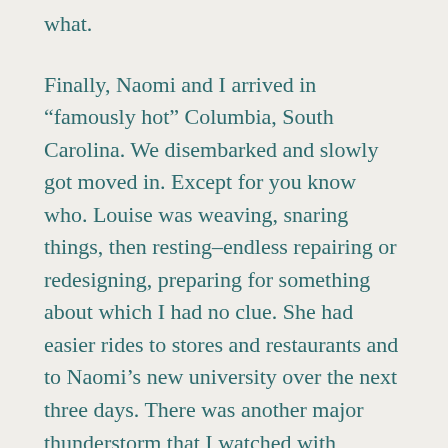what.
Finally, Naomi and I arrived in “famously hot” Columbia, South Carolina. We disembarked and slowly got moved in. Except for you know who. Louise was weaving, snaring things, then resting–endless repairing or redesigning, preparing for something about which I had no clue. She had easier rides to stores and restaurants and to Naomi’s new university over the next three days. There was another major thunderstorm that I watched with restlessness on the new wide porch. As vivid lightning divided darkness  with thunderous shouts and winds unleashed their power, I sat on the porch swing a bit and wondered if Louise was okay. Of course, she would be.